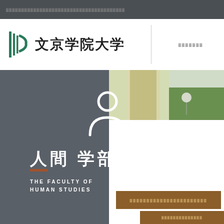（ナビゲーションメニュー）
[Figure (logo): Bunkyo Gakuin University logo — stylized B with vertical lines in green, followed by Japanese text 文京学院大学]
（メニュー項目）
[Figure (photo): Interior photo showing window with curtains and green outdoor view]
[Figure (illustration): White person/user silhouette icon on dark grey background]
人間 学部
THE FACULTY OF HUMAN STUDIES
（日本語ボタンリンク１）
（日本語ボタンリンク２）